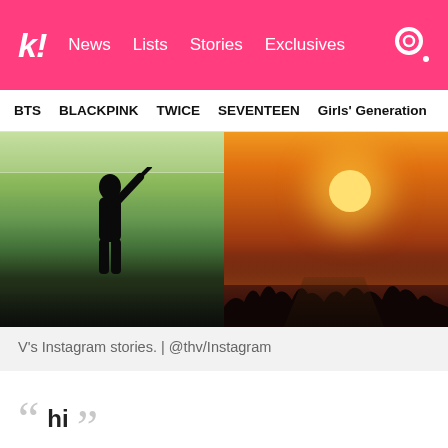k! News Lists Stories Exclusives
BTS  BLACKPINK  TWICE  SEVENTEEN  Girls' Generation
[Figure (photo): Two side-by-side Instagram story images: left shows a silhouette of a person swinging a golf club at a driving range with green field background; right shows a vibrant orange sunset sky with a bright sun and tree silhouettes on the horizon.]
V's Instagram stories. | @thv/Instagram
" hi " — V's caption (top left)